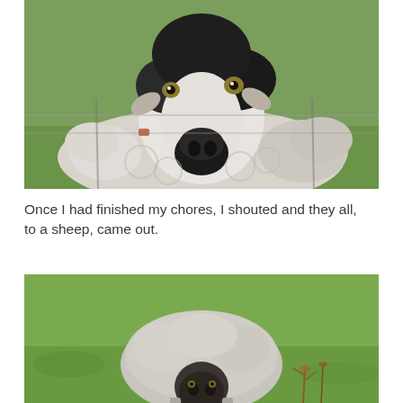[Figure (photo): Close-up photograph of a sheep with black and white markings on its face, looking directly at the camera. The sheep has woolly fleece and is photographed through or near a wire fence. Green grass is visible in the background.]
Once I had finished my chores, I shouted and they all, to a sheep, came out.
[Figure (photo): Photograph of a sheep standing on green grass, viewed from slightly above and behind. The sheep has a rounded woolly body and a dark face. Some brown dried plants are visible nearby.]